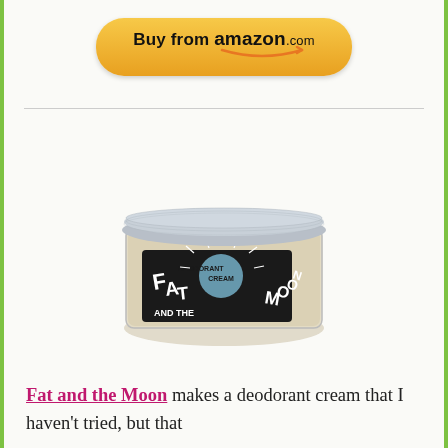[Figure (logo): Buy from amazon.com button — gold/orange rounded rectangle button with bold text 'Buy from amazon.com' and an orange smile arrow underneath the amazon word]
[Figure (photo): A glass jar of Fat and the Moon Deodorant Cream with a silver metal lid. The jar has a dark label with white illustrated text reading 'DEODORANT CREAM' and 'FAT AND THE MOON' with moon and mountain graphics.]
Fat and the Moon makes a deodorant cream that I haven't tried, but that